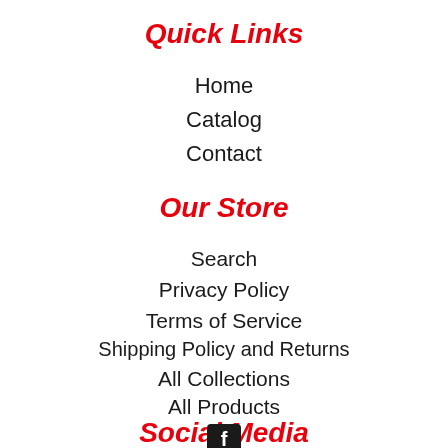Quick Links
Home
Catalog
Contact
Our Store
Search
Privacy Policy
Terms of Service
Shipping Policy and Returns
All Collections
All Products
Social Media
[Figure (logo): Facebook icon - black square with white f letter]
Questions? We can help. Chat with us now.